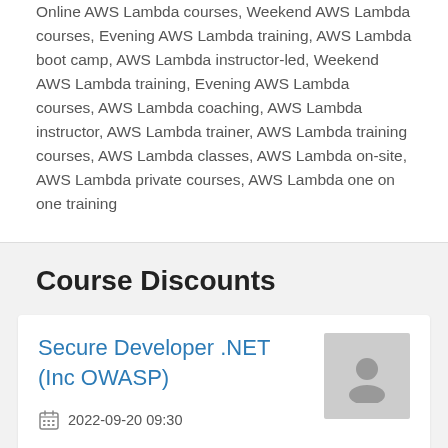Online AWS Lambda courses, Weekend AWS Lambda courses, Evening AWS Lambda training, AWS Lambda boot camp, AWS Lambda instructor-led, Weekend AWS Lambda training, Evening AWS Lambda courses, AWS Lambda coaching, AWS Lambda instructor, AWS Lambda trainer, AWS Lambda training courses, AWS Lambda classes, AWS Lambda on-site, AWS Lambda private courses, AWS Lambda one on one training
Course Discounts
Secure Developer .NET (Inc OWASP)
2022-09-20 09:30